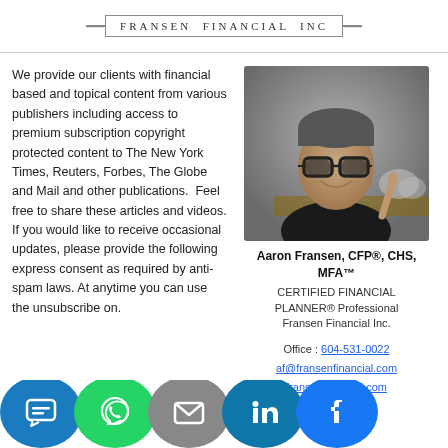FRANSEN FINANCIAL INC
We provide our clients with financial based and topical content from various publishers including access to premium subscription copyright protected content to The New York Times, Reuters, Forbes, The Globe and Mail and other publications.  Feel free to share these articles and videos. If you would like to receive occasional updates, please provide the following express consent as required by anti-spam laws. At anytime you can use the unsubscribe on.
[Figure (photo): Portrait photo of Aaron Fransen, a middle-aged man with glasses, wearing a black shirt, smiling and raising one finger, against a gray/stone background]
Aaron Fransen, CFP®, CHS, MFA™
CERTIFIED FINANCIAL PLANNER® Professional
Fransen Financial Inc.

Office : 604-531-0022
af@fransenfinancial.com
fransenfinancial.com